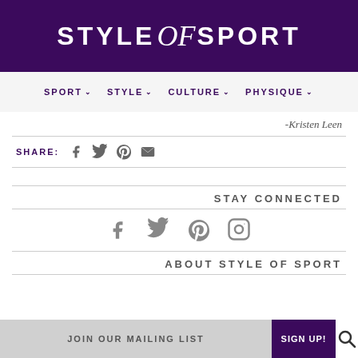STYLE of SPORT
SPORT  STYLE  CULTURE  PHYSIQUE
-Kristen Leen
SHARE:
STAY CONNECTED
ABOUT STYLE OF SPORT
JOIN OUR MAILING LIST
SIGN UP!